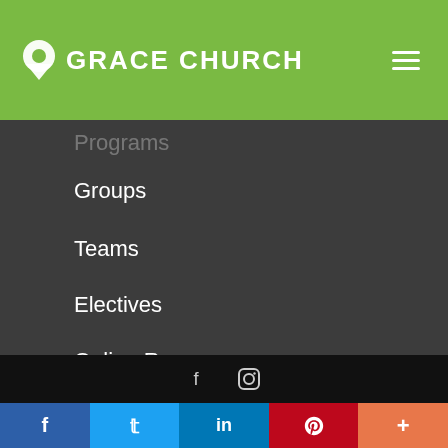GRACE CHURCH
Programs
Groups
Teams
Electives
Online Resources
© 2020 Grace Church. All rights reserved. Powered by TechChurch.
[Figure (other): Social media icons: Facebook (f) and Instagram]
[Figure (other): Bottom share bar with Facebook, Twitter, LinkedIn, Pinterest, and More (+) buttons]